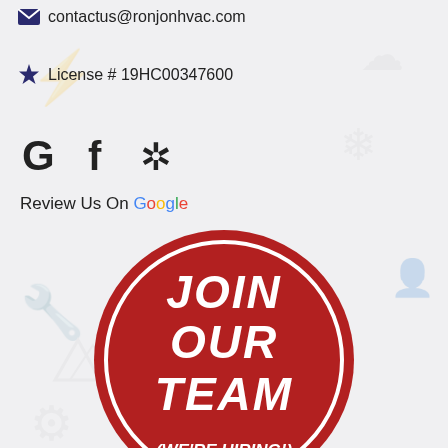contactus@ronjonhvac.com
License # 19HC00347600
[Figure (logo): Social media icons: Google G, Facebook f, Yelp star]
Review Us On Google
[Figure (infographic): Red circle badge with white text reading JOIN OUR TEAM (WE'RE HIRING!)]